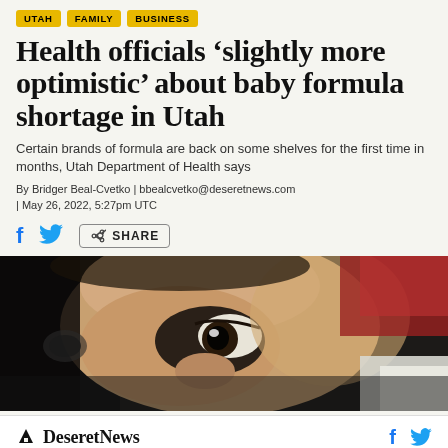UTAH  FAMILY  BUSINESS
Health officials ‘slightly more optimistic’ about baby formula shortage in Utah
Certain brands of formula are back on some shelves for the first time in months, Utah Department of Health says
By Bridger Beal-Cvetko | bbealcvetko@deseretnews.com | May 26, 2022, 5:27pm UTC
[Figure (photo): Close-up photo of a baby's face looking upward, with blurred background including red fabric]
Deseret News